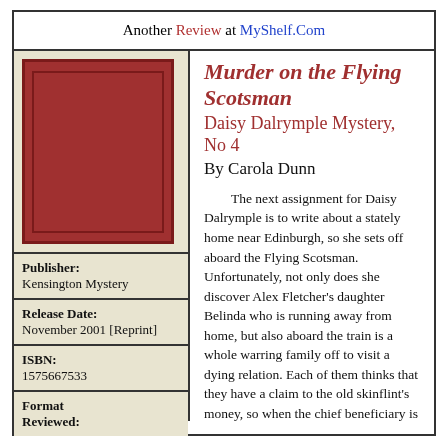Another Review at MyShelf.Com
[Figure (illustration): Book cover placeholder — solid dark red rectangle with inner border]
Publisher: Kensington Mystery
Release Date: November 2001 [Reprint]
ISBN: 1575667533
Format Reviewed:
Murder on the Flying Scotsman
Daisy Dalrymple Mystery, No 4
By Carola Dunn
The next assignment for Daisy Dalrymple is to write about a stately home near Edinburgh, so she sets off aboard the Flying Scotsman. Unfortunately, not only does she discover Alex Fletcher's daughter Belinda who is running away from home, but also aboard the train is a whole warring family off to visit a dying relation. Each of them thinks that they have a claim to the old skinflint's money, so when the chief beneficiary is found dead in his carriage it looks like foul play. Luckily Daisy is on